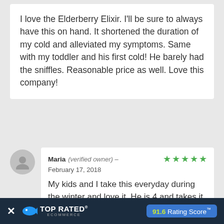I love the Elderberry Elixir. I'll be sure to always have this on hand. It shortened the duration of my cold and alleviated my symptoms. Same with my toddler and his first cold! He barely had the sniffles. Reasonable price as well. Love this company!
Maria (verified owner) – February 17, 2018
My kids and I take this everyday during the winter and love it. He is 4 and takes it no problem with a bit of juice
[Figure (infographic): Top Rated Ecommerce badge with 91.6 Rating Score]
TOP RATED ECOMMERCE — 91.6 Rating Score™